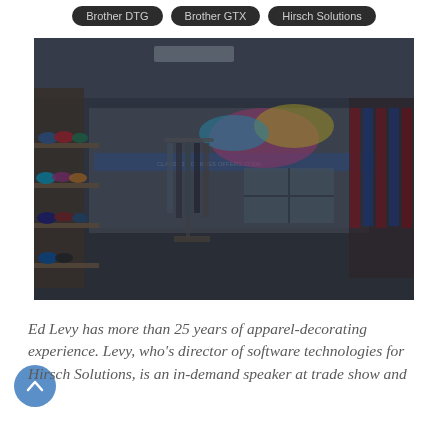Brother DTG  Brother GTX  Hirsch Solutions
[Figure (photo): Interior of an apparel decorating shop showing shelves of sports caps on the left, clothing racks with jackets and shirts in the center, more apparel on racks to the right, a colorful logo/mural on the back wall, and a blue stripe banner. The image has a dark overlay tint.]
Ed Levy has more than 25 years of apparel-decorating experience. Levy, who's director of software technologies for Hirsch Solutions, is an in-demand speaker at trade show and